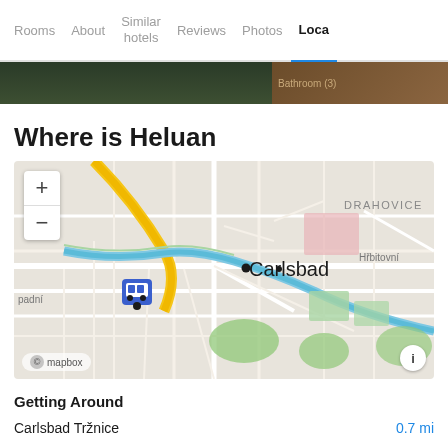Rooms  About  Similar hotels  Reviews  Photos  Loca
[Figure (photo): Photo strip showing hotel room/exterior images partially visible]
Where is Heluan
[Figure (map): Mapbox map showing Carlsbad / Karlovy Vary area with streets, river, and surrounding areas including DRAHOVICE, Hřbitovní, padní. Map pin marker visible near Carlsbad label. Zoom +/- controls top-left. Mapbox attribution bottom-left, info button bottom-right.]
Getting Around
Carlsbad Tržnice    0.7 mi